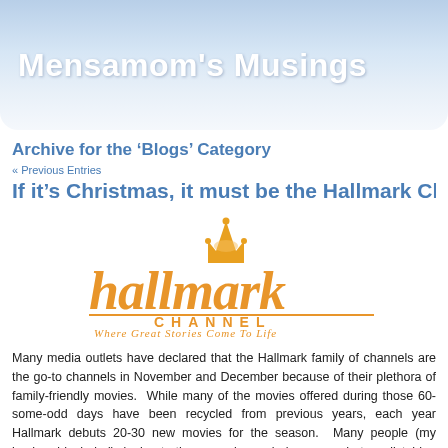Mensamom's Musings
Archive for the ‘Blogs’ Category
« Previous Entries
If it’s Christmas, it must be the Hallmark Ch
[Figure (logo): Hallmark Channel logo with crown and tagline 'Where Great Stories Come To Life']
Many media outlets have declared that the Hallmark family of channels are the go-to channels in November and December because of their plethora of family-friendly movies.  While many of the movies offered during those 60-some-odd days have been recycled from previous years, each year Hallmark debuts 20-30 new movies for the season.  Many people (my husband included) denigrate these movies as being somewhat predictable.  Granted, most of the time the plots are pretty sim... stop people from watching them, myself included.  The annual marathon...